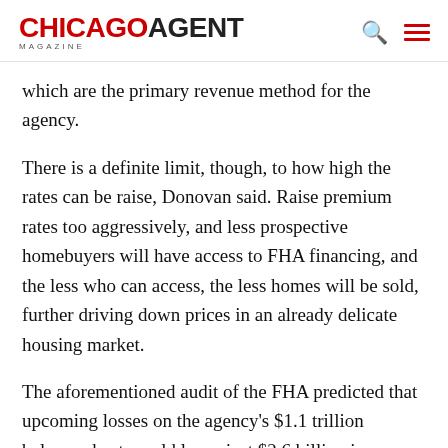CHICAGO AGENT MAGAZINE
which are the primary revenue method for the agency.
There is a definite limit, though, to how high the rates can be raise, Donovan said. Raise premium rates too aggressively, and less prospective homebuyers will have access to FHA financing, and the less who can access, the less homes will be sold, further driving down prices in an already delicate housing market.
The aforementioned audit of the FHA predicted that upcoming losses on the agency's $1.1 trillion balance sheet would leave just $2.6 billion in reserves for the next 30 years, which account for only 0.24 percent of the agency's mortgages. Though Federal law requires